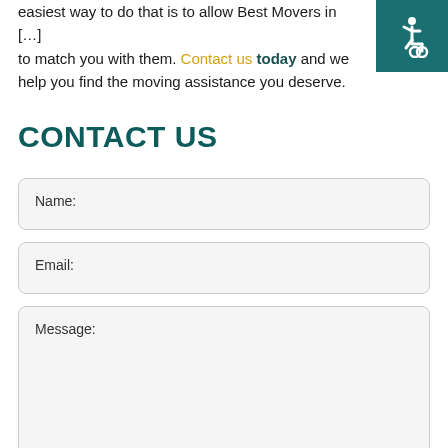easiest way to do that is to allow Best Movers in [?] to match you with them. Contact us today and we help you find the moving assistance you deserve.
[Figure (illustration): Accessibility icon: white wheelchair user symbol on teal/dark green background square, top-right corner]
CONTACT US
Name:
Email:
Message: